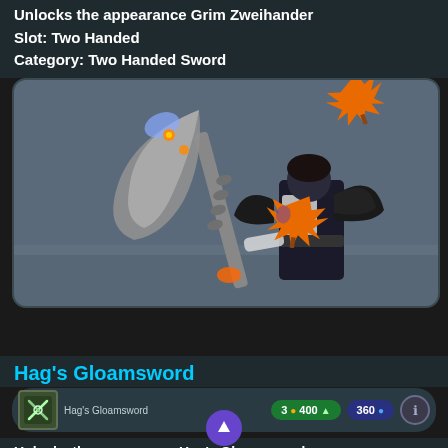Unlocks the appearance Grim Zweihander
Slot: Two Handed
Category: Two Handed Sword
[Figure (screenshot): In-game screenshot showing a character wielding a large scythe-like two-handed sword (Grim Zweihander). The character wears dark armor with wings. Orange maple leaf emojis overlay the character's face and upper area. The weapon has a curved blade with glowing orange elements and a skeletal/mechanical design.]
Hag's Gloamsword
[Figure (screenshot): Item row UI element showing Hag's Gloamsword icon (green crossed swords on dark background), item name label, a green pill showing '3 ● 400 ▲', a blue pill showing '360 ●', and an info button.]
Unlocks the appearance Hag's Gloamsword
Slot: Two Hand...